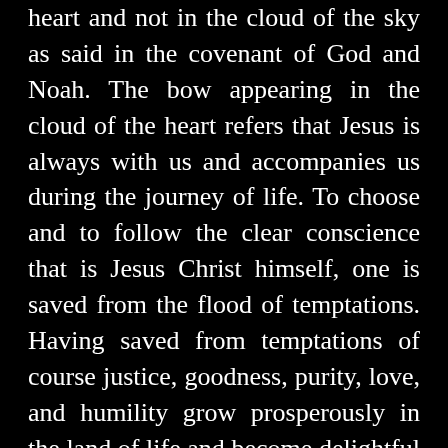heart and not in the cloud of the sky as said in the covenant of God and Noah. The bow appearing in the cloud of the heart refers that Jesus is always with us and accompanies us during the journey of life. To choose and to follow the clear conscience that is Jesus Christ himself, one is saved from the flood of temptations. Having saved from temptations of course justice, goodness, purity, love, and humility grow prosperously in the land of life and become delightful fruit in life. Now with a clear conscience, life is not a desert anymore but a garden that is planted with flowers of justice, roses of goodness, an orchard of purity, jasmine of patience, a sunflower of love and etc. It is not a scary place anymore but becomes a beautiful life under the sun of Jesus.